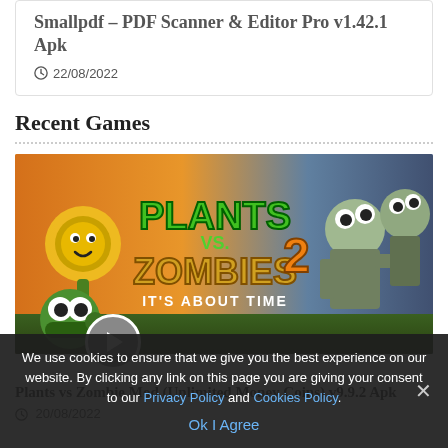Smallpdf – PDF Scanner & Editor Pro v1.42.1 Apk
22/08/2022
Recent Games
[Figure (photo): Plants vs Zombies 2 game banner image showing cartoon plants and zombies with the game logo 'Plants vs. Zombies 2 It's About Time']
Plants vs Zombie Mod (Unlimited Money Coins) v9.9.2 Apk
20/08/2022
We use cookies to ensure that we give you the best experience on our website. By clicking any link on this page you are giving your consent to our Privacy Policy and Cookies Policy.
Ok I Agree